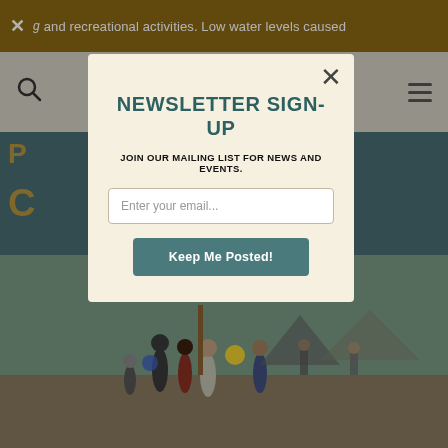and recreational activities. Low water levels caused
[Figure (logo): Lake County California logo with mountain icon and stylized script text]
NEWSLETTER SIGN-UP
JOIN OUR MAILING LIST FOR NEWS AND EVENTS.
Enter your email...
Keep Me Posted!
[Figure (photo): Children playing outdoors at a community event, people in background near vendor tents]